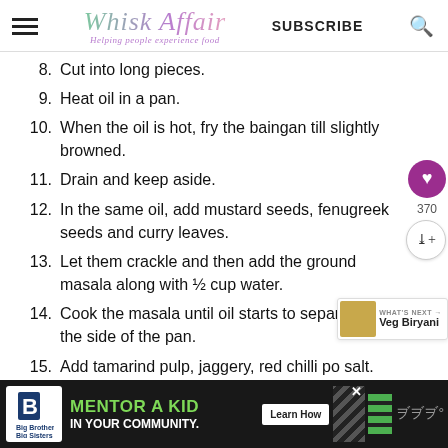Whisk Affair — Helping people experience food — SUBSCRIBE
8. Cut into long pieces.
9. Heat oil in a pan.
10. When the oil is hot, fry the baingan till slightly browned.
11. Drain and keep aside.
12. In the same oil, add mustard seeds, fenugreek seeds and curry leaves.
13. Let them crackle and then add the ground masala along with ½ cup water.
14. Cook the masala until oil starts to separate on the side of the pan.
15. Add tamarind pulp, jaggery, red chilli po… salt.
[Figure (infographic): Advertisement banner for Big Brothers Big Sisters: MENTOR A KID IN YOUR COMMUNITY with Learn How button]